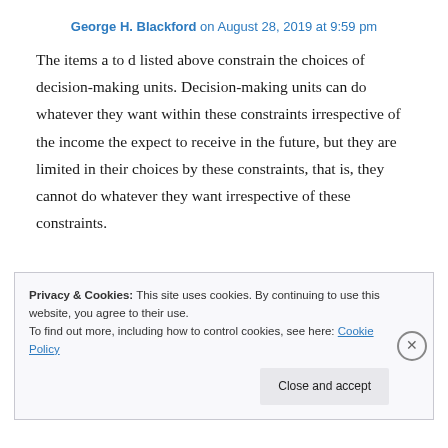George H. Blackford on August 28, 2019 at 9:59 pm
The items a to d listed above constrain the choices of decision-making units. Decision-making units can do whatever they want within these constraints irrespective of the income the expect to receive in the future, but they are limited in their choices by these constraints, that is, they cannot do whatever they want irrespective of these constraints.
Privacy & Cookies: This site uses cookies. By continuing to use this website, you agree to their use.
To find out more, including how to control cookies, see here: Cookie Policy
Close and accept